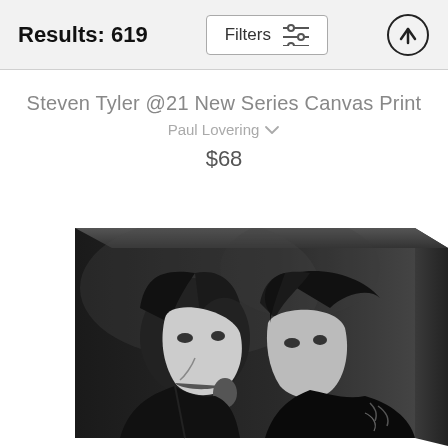Results: 619
Filters
Steven Tyler @21 New Series Canvas Print
Paul Lovering
$68
[Figure (photo): Black and white canvas print showing two musicians (Steven Tyler and another band member) performing together at a microphone, displayed as a wrapped canvas print with visible edge.]